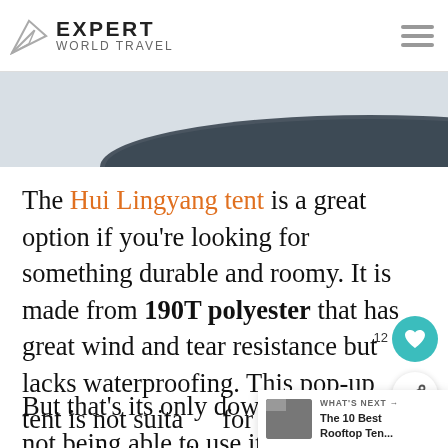EXPERT WORLD TRAVEL
[Figure (photo): Partial view of a dark-colored pop-up tent against a light background]
The Hui Lingyang tent is a great option if you're looking for something durable and roomy. It is made from 190T polyester that has great wind and tear resistance but lacks waterproofing. This pop-up tent is not suitable for use in heavy rain unless you have a tarp throw over it.
But that's its only downside. If you're not being able to use it in heavy rain, then